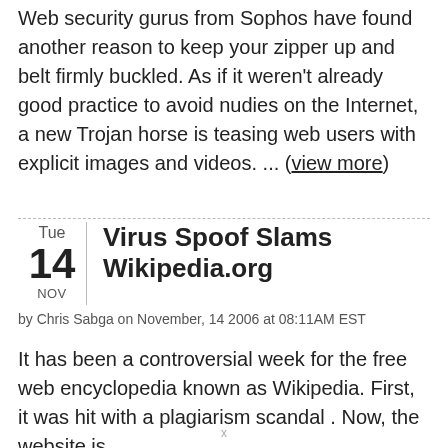Web security gurus from Sophos have found another reason to keep your zipper up and belt firmly buckled. As if it weren't already good practice to avoid nudies on the Internet, a new Trojan horse is teasing web users with explicit images and videos. ... (view more)
Virus Spoof Slams Wikipedia.org
by Chris Sabga on November, 14 2006 at 08:11AM EST
It has been a controversial week for the free web encyclopedia known as Wikipedia. First, it was hit with a plagiarism scandal . Now, the website is